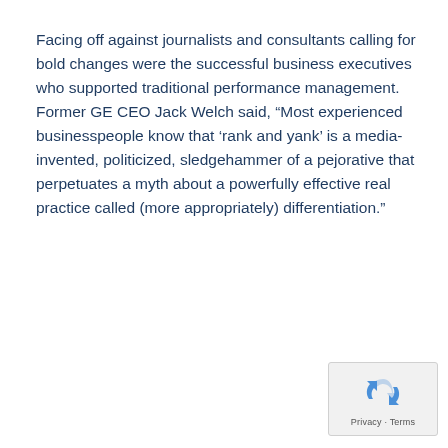Facing off against journalists and consultants calling for bold changes were the successful business executives who supported traditional performance management. Former GE CEO Jack Welch said, “Most experienced businesspeople know that ‘rank and yank’ is a media-invented, politicized, sledgehammer of a pejorative that perpetuates a myth about a powerfully effective real practice called (more appropriately) differentiation.”
[Figure (other): Google reCAPTCHA privacy badge with Privacy and Terms links]